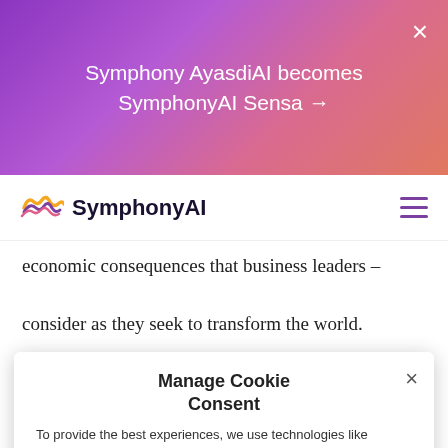[Figure (screenshot): Purple/pink gradient banner announcing 'Symphony AyasdiAI becomes SymphonyAI Sensa →' with white text and close button]
[Figure (logo): SymphonyAI logo with colorful icon and dark text, plus hamburger menu icon]
economic consequences that business leaders –
consider as they seek to transform the world.
Oil also plays a role in the fourth book on the list, Black Wave by Kim Ghattas. In the book, Ghattas writes about how history, culture, geopolitics, dogmatism, and foreign meddling created today's rivalry between Iran and Saudi Arabia, fueling decades of violence and strife. Ghattas shows how ideas, and consequently historical records, can become distorted over time – to grave consequences.
[Figure (screenshot): Cookie consent popup overlay with title 'Manage Cookie Consent', explanatory text about cookies and data processing, close button, and purple ACCEPT button]
Similarly, Dan Wall...